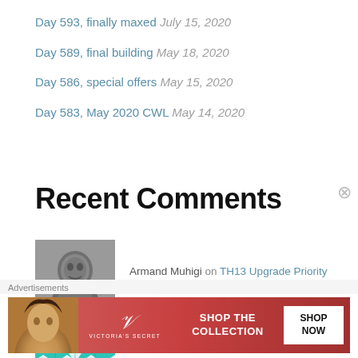Day 593, finally maxed July 15, 2020
Day 589, final building May 18, 2020
Day 586, special offers May 15, 2020
Day 583, May 2020 CWL May 14, 2020
Recent Comments
Armand Muhigi on TH13 Upgrade Priority Guide
Danny on Day 79, TH10 crows
[Figure (photo): Grayscale profile photo of a man]
[Figure (other): Teal diamond/cross pattern avatar for Danny]
[Figure (other): Partial purple avatar visible at bottom]
[Figure (other): Victoria's Secret advertisement banner with model photo, VS logo, SHOP THE COLLECTION text, and SHOP NOW button]
Advertisements